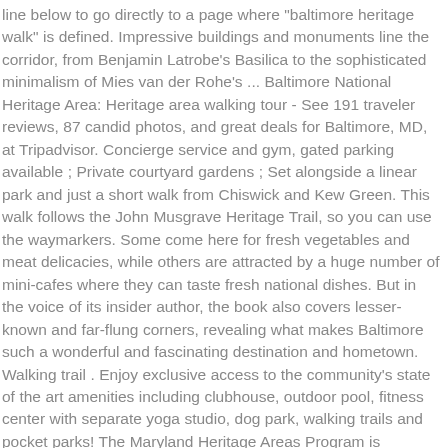line below to go directly to a page where "baltimore heritage walk" is defined. Impressive buildings and monuments line the corridor, from Benjamin Latrobe's Basilica to the sophisticated minimalism of Mies van der Rohe's ... Baltimore National Heritage Area: Heritage area walking tour - See 191 traveler reviews, 87 candid photos, and great deals for Baltimore, MD, at Tripadvisor. Concierge service and gym, gated parking available ; Private courtyard gardens ; Set alongside a linear park and just a short walk from Chiswick and Kew Green. This walk follows the John Musgrave Heritage Trail, so you can use the waymarkers. Some come here for fresh vegetables and meat delicacies, while others are attracted by a huge number of mini-cafes where they can taste fresh national dishes. But in the voice of its insider author, the book also covers lesser-known and far-flung corners, revealing what makes Baltimore such a wonderful and fascinating destination and hometown. Walking trail . Enjoy exclusive access to the community's state of the art amenities including clubhouse, outdoor pool, fitness center with separate yoga studio, dog park, walking trails and pocket parks! The Maryland Heritage Areas Program is governed by the Maryland Heritage Areas Authority (MHAA) and administered by the Maryland Historical Trust. On the main living level, you're greeted by an enormous